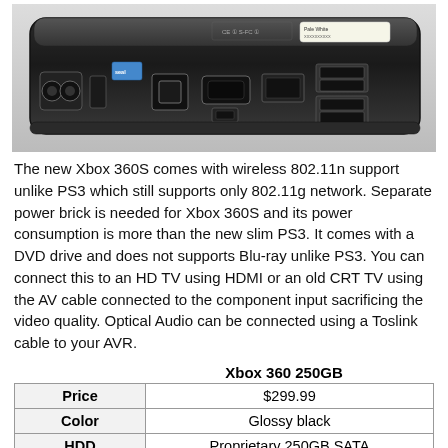[Figure (photo): Rear panel of Xbox 360S console showing ports including power, USB, HDMI, Ethernet, and AV connections on a black chassis]
The new Xbox 360S comes with wireless 802.11n support unlike PS3 which still supports only 802.11g network. Separate power brick is needed for Xbox 360S and its power consumption is more than the new slim PS3. It comes with a DVD drive and does not supports Blu-ray unlike PS3. You can connect this to an HD TV using HDMI or an old CRT TV using the AV cable connected to the component input sacrificing the video quality. Optical Audio can be connected using a Toslink cable to your AVR.
|  | Xbox 360 250GB |
| --- | --- |
| Price | $299.99 |
| Color | Glossy black |
| HDD | Proprietary 250GB SATA |
| Blu-ray | (row cut off) |